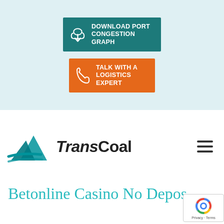[Figure (infographic): Teal button with cloud download icon and text DOWNLOAD PORT CONGESTION GRAPH on light blue background]
[Figure (infographic): Orange button with phone icon and text TALK WITH A LOGISTICS EXPERT on light blue background]
[Figure (logo): TransCoal logo with teal mountain/arrow graphic and bold text TransCoal, plus hamburger menu icon]
Betonline Casino No Depos...